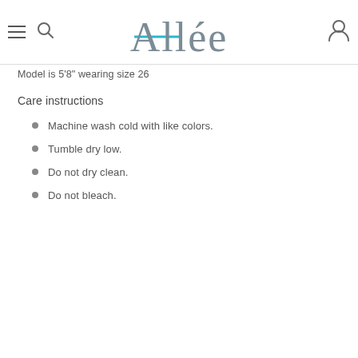Allée
Model is 5'8" wearing size 26
Care instructions
Machine wash cold with like colors.
Tumble dry low.
Do not dry clean.
Do not bleach.